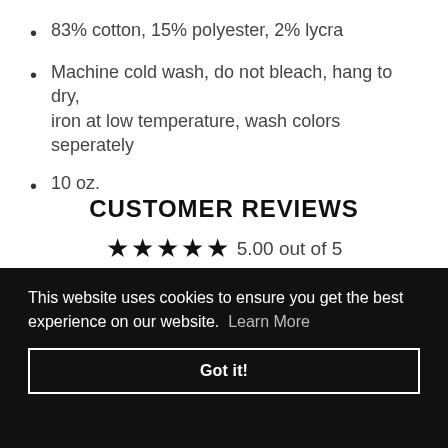83% cotton, 15% polyester, 2% lycra
Machine cold wash, do not bleach, hang to dry, iron at low temperature, wash colors seperately
10 oz.
CUSTOMER REVIEWS
5.00 out of 5
This website uses cookies to ensure you get the best experience on our website. Learn More
Got it!